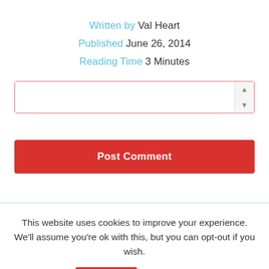Written by Val Heart
Published June 26, 2014
Reading Time 3 Minutes
[Figure (screenshot): A comment form input box with a red border and a scrollbar on the right side showing up and down arrows]
Post Comment
This website uses cookies to improve your experience. We'll assume you're ok with this, but you can opt-out if you wish.
Accept  Read More